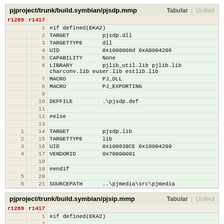pjproject/trunk/build.symbian/pjsdp.mmp   Tabular | Unified
| r1269 | r1417 | code |
| --- | --- | --- |
|  | 1 | #if defined(EKA2) |
|  | 2 | TARGET          pjsdp.dll |
|  | 3 | TARGETTYPE      dll |
|  | 4 | UID             0x1000008d 0xA0004296 |
|  | 5 | CAPABILITY      None |
|  | 6 | LIBRARY         pjlib_util.lib pjlib.lib
charconv.lib euser.lib estlib.lib |
|  | 7 | MACRO           PJ_DLL |
|  | 8 | MACRO           PJ_EXPORTING |
|  | 9 |  |
|  | 10 | DEFFILE         .\pjsdp.def |
|  | 11 |  |
|  | 12 | #else |
|  | 13 |  |
| 1 | 14 | TARGET          pjsdp.lib |
| 2 | 15 | TARGETTYPE      lib |
| 3 | 16 | UID             0x100039CE 0x10004299 |
| 4 | 17 | VENDORID        0x70000001 |
|  | 18 |  |
|  | 19 | #endif |
| 5 | 20 |  |
| 6 | 21 | SOURCEPATH      ..\pjmedia\src\pjmedia |
pjproject/trunk/build.symbian/pjsip.mmp   Tabular | Unified
| r1269 | r1417 | code |
| --- | --- | --- |
|  | 1 | #if defined(EKA2) |
|  | 2 |  |